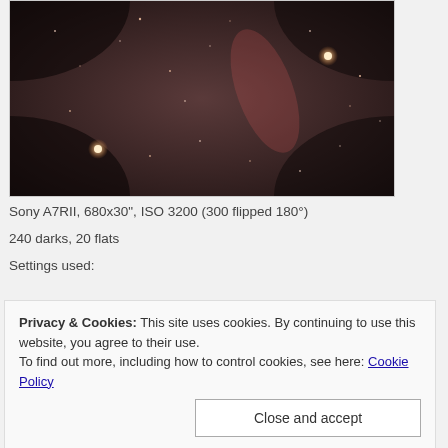[Figure (photo): Astrophotography image showing a dark reddish-brown star field with visible stars and a faint nebula structure in the center-right area. Two brighter orange-red stars visible at lower-left and upper-right.]
Sony A7RII, 680x30", ISO 3200 (300 flipped 180°)
240 darks, 20 flats
Settings used:
Privacy & Cookies: This site uses cookies. By continuing to use this website, you agree to their use.
To find out more, including how to control cookies, see here: Cookie Policy
[Figure (photo): Bottom partial photo strip, dark astrophotography image.]